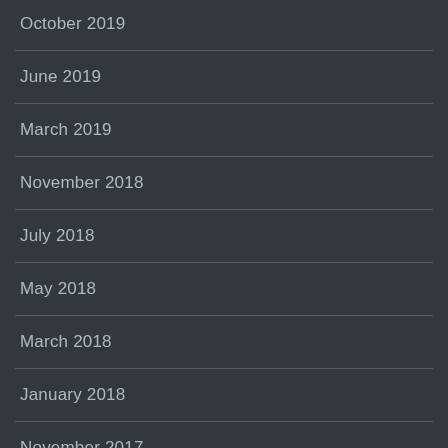October 2019
June 2019
March 2019
November 2018
July 2018
May 2018
March 2018
January 2018
November 2017
October 2017
September 2017